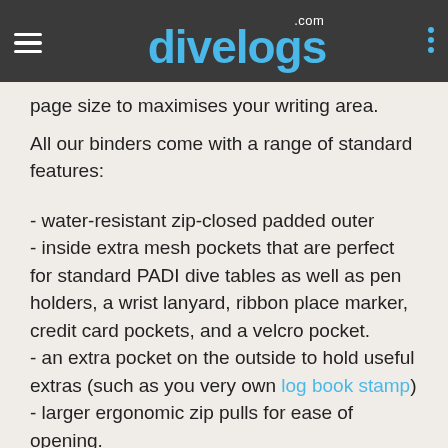divelogs.com
page size to maximises your writing area.
All our binders come with a range of standard features:
- water-resistant zip-closed padded outer
- inside extra mesh pockets that are perfect for standard PADI dive tables as well as pen holders, a wrist lanyard, ribbon place marker, credit card pockets, and a velcro pocket.
- an extra pocket on the outside to hold useful extras (such as you very own log book stamp)
- larger ergonomic zip pulls for ease of opening.
- double stitching on all zips and main seams.
Our binders are absolutely perfect for holiday packing! They are small and soft enough to fit in any bag. And with integrated page protectors you can be sure that your pages will stay nice and flat.